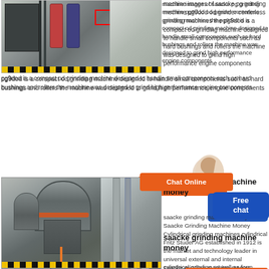[Figure (photo): Industrial grinding machine in a factory setting with stairs and equipment visible]
machine images of saacke pg grinding mechine pg9dod od grinder centerless grinding machines the pg9dod is a compact od grinding machine designed to handle small components such as hard bushings and rollers the machine was designed to grind high performance engine components
[Figure (other): Chat Online button (orange) with avatar and Free chat box (blue)]
saacke grinding machine money
[Figure (photo): Large industrial grinding/milling machine in a factory warehouse]
saacke grinding machine money Saacke Grinding Machine Money Cylindrical grinding machines cylindrical Fritz Studer AG established in 1912 is the market and technology leader in universal external and internal cylindrical grinding as well as form grinding.
[Figure (other): Chat Online button (orange) at bottom]